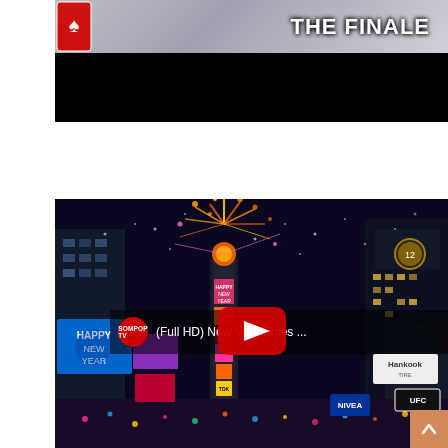[Figure (screenshot): Top portion of a video thumbnail showing 'THE FINALE' text on a gray/silver background with what appears to be a playing card icon on the left side, followed by a black video player area below]
[Figure (screenshot): YouTube video embed thumbnail showing New York Times Square New Year's Eve fireworks celebration at night, with SOMPOPTV channel avatar and title '(Full HD) New York Times ...' in the header bar, a large red YouTube play button in the center, and colorful city lights and fireworks filling the scene. A scroll-to-top button (orange/peach colored with up arrow) is visible in the bottom right corner.]